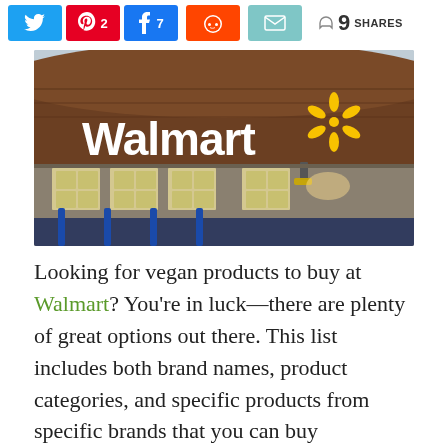[Figure (infographic): Social sharing bar with Twitter, Pinterest (2), Facebook (7), Reddit, Email buttons and 9 SHARES count]
[Figure (photo): Exterior photo of a Walmart store building with the Walmart logo and spark symbol on a dark brick facade, shopping carts visible in foreground]
Looking for vegan products to buy at Walmart? You're in luck—there are plenty of great options out there. This list includes both brand names, product categories, and specific products from specific brands that you can buy